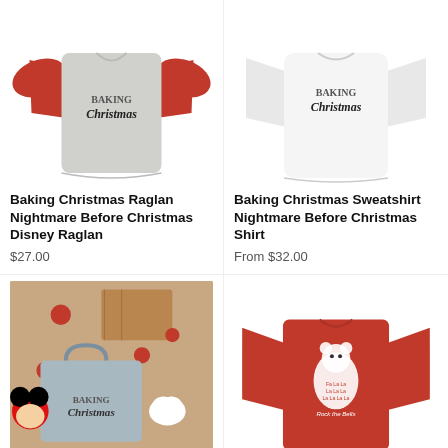[Figure (photo): Gray and red baseball raglan shirt with 'Baking Christmas' gingerbread design]
Baking Christmas Raglan Nightmare Before Christmas Disney Raglan
$27.00
[Figure (photo): White sweatshirt with 'Baking Christmas' gingerbread design]
Baking Christmas Sweatshirt Nightmare Before Christmas Shirt
From $32.00
[Figure (photo): Flat lay of 'Baking Christmas' tote bag with Mickey Mouse plush and Christmas decorations]
[Figure (photo): Red long-sleeve shirt with polar bear 'Rock the Bells' Christmas design]